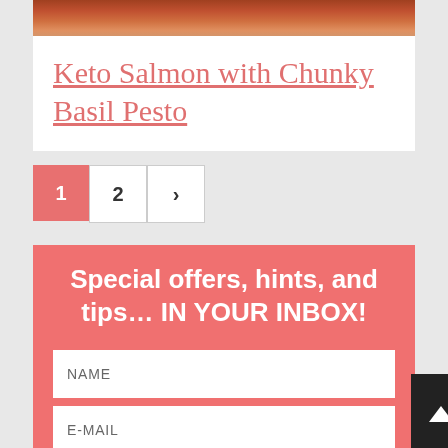[Figure (photo): Food photo showing salmon with basil pesto, partially visible at top of page]
Keto Salmon with Chunky Basil Pesto
1
2
>
Special offers, hints, and tips... IN YOUR INBOX!
NAME
E-MAIL